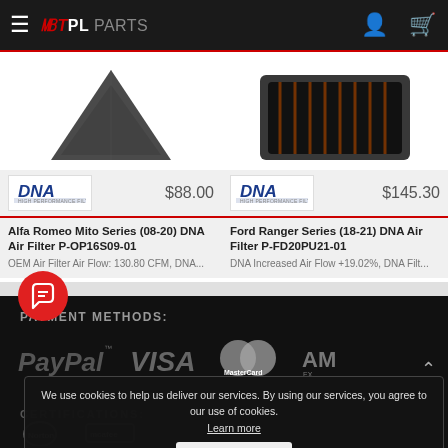TPL PARTS
[Figure (photo): Air filter product image for Alfa Romeo Mito DNA Air Filter]
$88.00
Alfa Romeo Mito Series (08-20) DNA Air Filter P-OP16S09-01
OEM Air Filter Air Flow: 130.80 CFM, DNA...
[Figure (photo): Air filter product image for Ford Ranger DNA Air Filter]
$145.30
Ford Ranger Series (18-21) DNA Air Filter P-FD20PU21-01
DNA Increased Air Flow +19.02%, DNA Filt...
PAYMENT METHODS:
[Figure (logo): PayPal, VISA, MasterCard, AMEx payment method logos]
We use cookies to help us deliver our services. By using our services, you agree to our use of cookies.
Learn more
Got it
CERTIFICATIONS:
[Figure (logo): Norton certification logo]